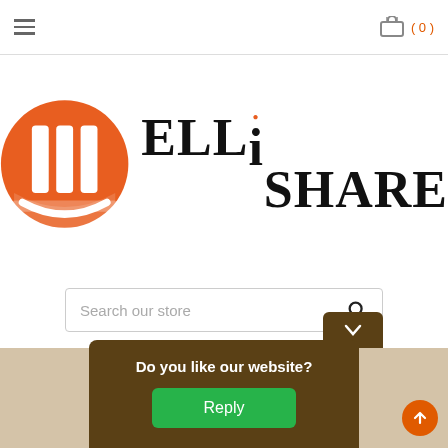≡  ( 0 )
[Figure (logo): Elli Share logo: orange circle with two vertical bars and a horizontal baseline arc, next to the text 'ELLi SHARE' in large serif letters with an orange dot above the lowercase i]
[Figure (screenshot): Search bar with placeholder text 'Search our store' and a magnifying glass icon]
[Figure (photo): Partial view of a dark chair against a light background]
Do you like our website?
Reply